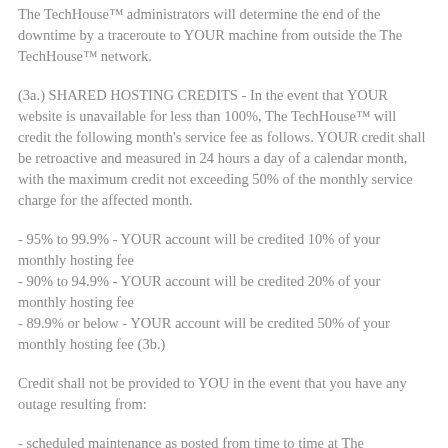The TechHouse™ administrators will determine the end of the downtime by a traceroute to YOUR machine from outside the The TechHouse™ network.
(3a.) SHARED HOSTING CREDITS - In the event that YOUR website is unavailable for less than 100%, The TechHouse™ will credit the following month's service fee as follows. YOUR credit shall be retroactive and measured in 24 hours a day of a calendar month, with the maximum credit not exceeding 50% of the monthly service charge for the affected month.
- 95% to 99.9% - YOUR account will be credited 10% of your monthly hosting fee
- 90% to 94.9% - YOUR account will be credited 20% of your monthly hosting fee
- 89.9% or below - YOUR account will be credited 50% of your monthly hosting fee (3b.)
Credit shall not be provided to YOU in the event that you have any outage resulting from:
- scheduled maintenance as posted from time to time at The TechHouse™,
- your behavior or the performance or failure of your equipment, facilities or applications,